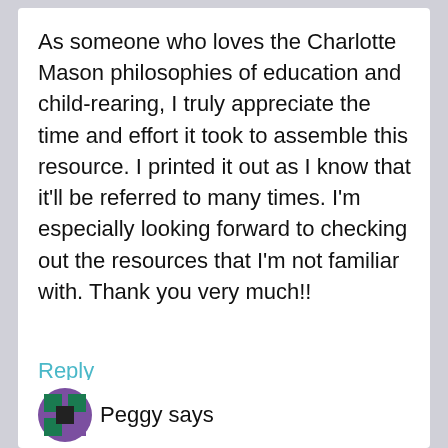As someone who loves the Charlotte Mason philosophies of education and child-rearing, I truly appreciate the time and effort it took to assemble this resource. I printed it out as I know that it'll be referred to many times. I'm especially looking forward to checking out the resources that I'm not familiar with. Thank you very much!!
Reply
Peggy says